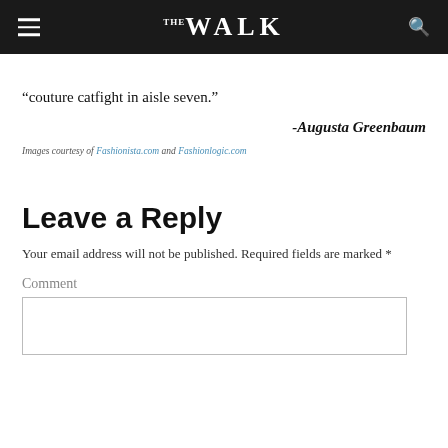The WALK
“couture catfight in aisle seven.”
-Augusta Greenbaum
Images courtesy of Fashionista.com and Fashionlogic.com
Leave a Reply
Your email address will not be published. Required fields are marked *
Comment